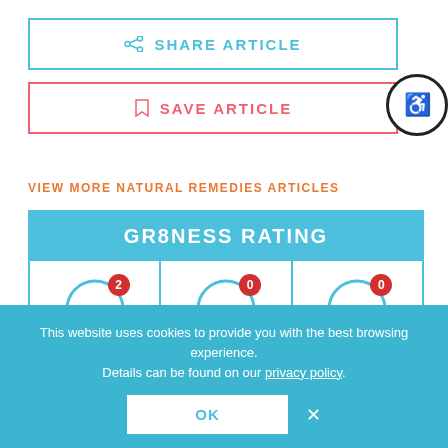SHARE ARTICLE
SAVE ARTICLE
VIEW MORE NATURAL REMEDIES ARTICLES
[Figure (infographic): GR8NESS RATING widget with three columns: GR8 (smiley face, badge 2), MEH (neutral face, badge 0), PASS (sad face, badge 0). Header is white text on blue background.]
This website uses cookies to provide you with the best browsing experience. Details can be found on our privacy policy.
OK